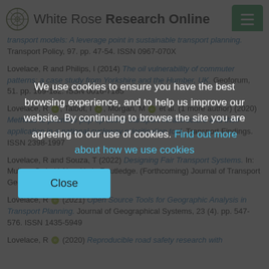White Rose Research Online
transport models: A leverage point in sustainable transport planning. Transport Policy, 97. pp. 47-54. ISSN 0967-070X
Lovelace, R and Philips, I (2014) The oil vulnerability of commuter patterns: a case study from Yorkshire and the Humber, UK. Geoforum, 51. pp. 169-182. ISSN 0016-7185
Lovelace, R, Talbot, I, Morgan, M et al. (1 more author) (2020) Methods to prioritise pop-up active transport infrastructure and their application in a national cycleway prioritisation tool. Transport Findings. ISSN 2398-1997
Lovelace, R and Souza, T (2022) Designing Fair Transport Systems. In: Mullen, C, (ed.) New York: Routledge. (Forthcoming) Journal of Transport Geography. ISSN 0966-6923
Lovelace, R (2021) Open Source Tools for Geographic Analysis in Transport Planning. Journal of Geographical Systems, 23 (4). pp. 547-576. ISSN 1435-5949
Lovelace, R (2020) Reproducible road safety research with
We use cookies to ensure you have the best browsing experience, and to help us improve our website. By continuing to browse the site you are agreeing to our use of cookies. Find out more about how we use cookies
Close